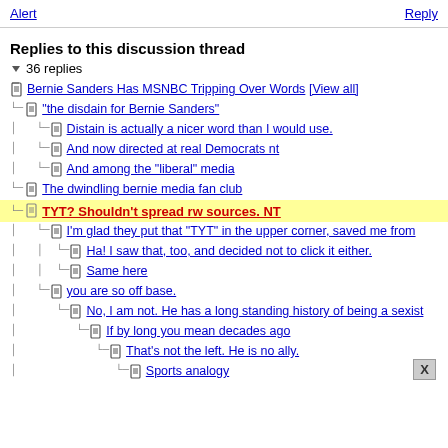Alert   Reply
Replies to this discussion thread
▾ 36 replies
Bernie Sanders Has MSNBC Tripping Over Words [View all]
"the disdain for Bernie Sanders"
Distain is actually a nicer word than I would use.
And now directed at real Democrats nt
And among the "liberal" media
The dwindling bernie media fan club
TYT? Shouldn't spread rw sources. NT
I'm glad they put that "TYT" in the upper corner, saved me from
Ha! I saw that, too, and decided not to click it either.
Same here
you are so off base.
No, I am not. He has a long standing history of being a sexist
If by long you mean decades ago
That's not the left. He is no ally.
Sports analogy